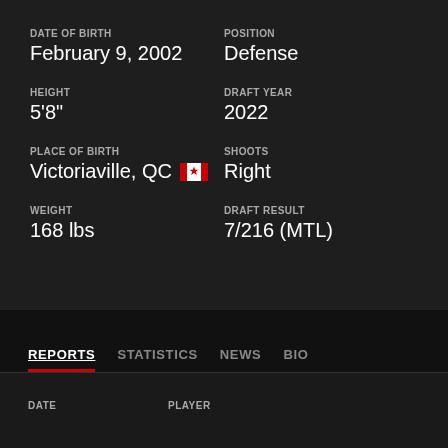DATE OF BIRTH: February 9, 2002
POSITION: Defense
HEIGHT: 5'8"
DRAFT YEAR: 2022
PLACE OF BIRTH: Victoriaville, QC [Canada flag]
SHOOTS: Right
WEIGHT: 168 lbs
DRAFT RESULT: 7/216 (MTL)
REPORTS  STATISTICS  NEWS  BIO
| DATE | PLAYER |
| --- | --- |